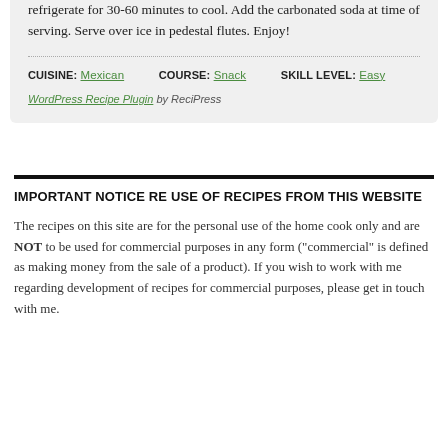refrigerate for 30-60 minutes to cool. Add the carbonated soda at time of serving. Serve over ice in pedestal flutes. Enjoy!
CUISINE: Mexican   COURSE: Snack   SKILL LEVEL: Easy
WordPress Recipe Plugin by ReciPress
IMPORTANT NOTICE RE USE OF RECIPES FROM THIS WEBSITE
The recipes on this site are for the personal use of the home cook only and are NOT to be used for commercial purposes in any form ("commercial" is defined as making money from the sale of a product). If you wish to work with me regarding development of recipes for commercial purposes, please get in touch with me.